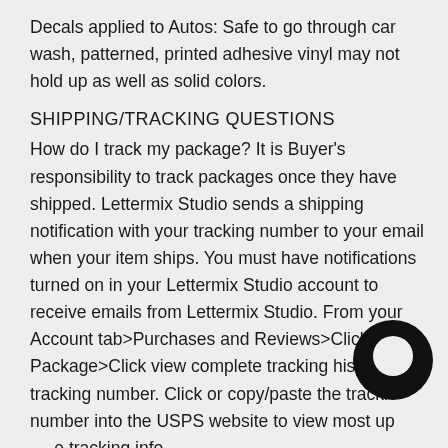Decals applied to Autos: Safe to go through car wash, patterned, printed adhesive vinyl may not hold up as well as solid colors.
SHIPPING/TRACKING QUESTIONS
How do I track my package? It is Buyer's responsibility to track packages once they have shipped. Lettermix Studio sends a shipping notification with your tracking number to your email when your item ships. You must have notifications turned on in your Lettermix Studio account to receive emails from Lettermix Studio. From your Account tab>Purchases and Reviews>Click Track Package>Click view complete tracking history or tracking number. Click or copy/paste the tracking number into the USPS website to view most up to date tracking info.
[Figure (logo): A black circular logo/icon, resembling a speech bubble or brand mark, overlaid in the lower right area of the text.]